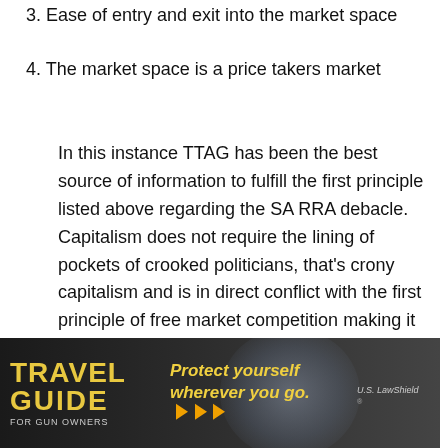3. Ease of entry and exit into the market space
4. The market space is a price takers market
In this instance TTAG has been the best source of information to fulfill the first principle listed above regarding the SA RRA debacle. Capitalism does not require the lining of pockets of crooked politicians, that's crony capitalism and is in direct conflict with the first principle of free market competition making it an enemy of true capitalism, and why companies often get hit financially when those crooked dealings come to light and the markets react accordingly. Only through the truth can we make informed decisions and live in a truly free
[Figure (advertisement): Travel Guide For Gun Owners advertisement banner with text 'Protect yourself wherever you go.' and US LawShield logo with orange arrows]